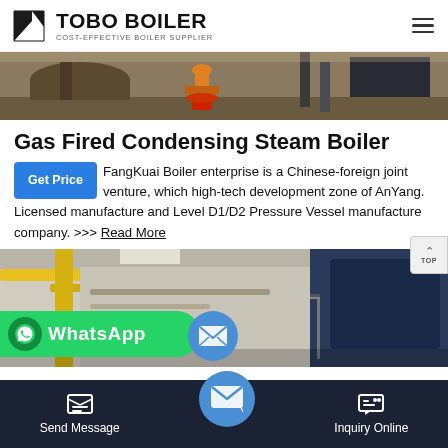TOBO BOILER — COST-EFFECTIVE BOILER SUPPLIER
[Figure (photo): Industrial boiler equipment photo — steam tanks and orange valve fittings visible]
Gas Fired Condensing Steam Boiler
FangKuai Boiler enterprise is a Chinese-foreign joint venture, which high-tech development zone of AnYang. Licensed manufacture and Level D1/D2 Pressure Vessel manufacture company. >>> Read More
[Figure (photo): Industrial boiler facility interior showing yellow pipes, walkways and large blue boiler equipment]
WhatsApp
Send Message    Inquiry Online